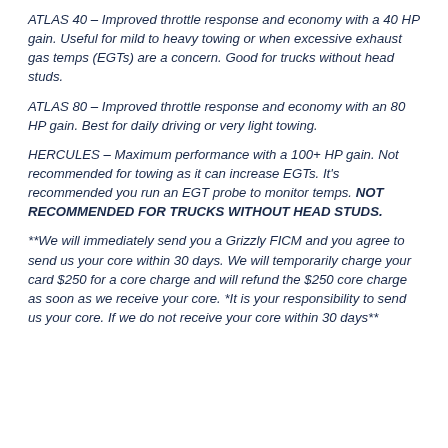ATLAS 40 – Improved throttle response and economy with a 40 HP gain. Useful for mild to heavy towing or when excessive exhaust gas temps (EGTs) are a concern. Good for trucks without head studs.
ATLAS 80 – Improved throttle response and economy with an 80 HP gain. Best for daily driving or very light towing.
HERCULES – Maximum performance with a 100+ HP gain. Not recommended for towing as it can increase EGTs. It's recommended you run an EGT probe to monitor temps. NOT RECOMMENDED FOR TRUCKS WITHOUT HEAD STUDS.
**We will immediately send you a Grizzly FICM and you agree to send us your core within 30 days. We will temporarily charge your card $250 for a core charge and will refund the $250 core charge as soon as we receive your core. *It is your responsibility to send us your core. If we do not receive your core within 30 days**